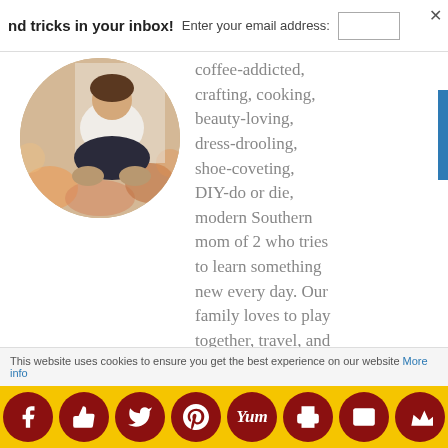nd tricks in your inbox!  Enter your email address:
[Figure (photo): Circular profile photo of a person sitting cross-legged on the floor with warm bokeh lights in the background]
coffee-addicted, crafting, cooking, beauty-loving, dress-drooling, shoe-coveting, DIY-do or die, modern Southern mom of 2 who tries to learn something new every day. Our family loves to play together, travel, and try new things, and I
This website uses cookies to ensure you get the best experience on our website More info
[Figure (infographic): Social media sharing icons bar with Facebook, Like, Twitter, Pinterest, Yummly, Print, Email, and crown icon buttons on a yellow background]